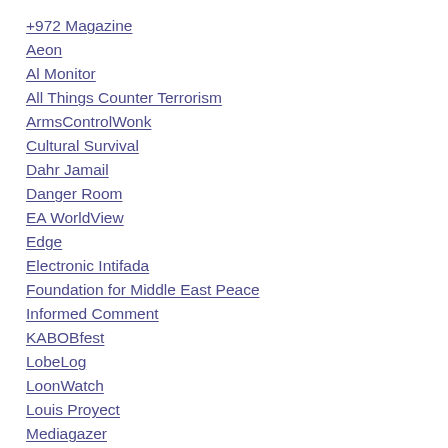+972 Magazine
Aeon
Al Monitor
All Things Counter Terrorism
ArmsControlWonk
Cultural Survival
Dahr Jamail
Danger Room
EA WorldView
Edge
Electronic Intifada
Foundation for Middle East Peace
Informed Comment
KABOBfest
LobeLog
LoonWatch
Louis Proyect
Mediagazer